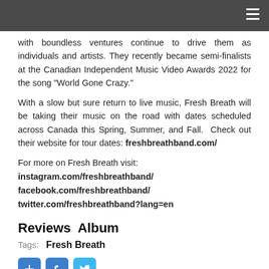with boundless ventures continue to drive them as individuals and artists. They recently became semi-finalists at the Canadian Independent Music Video Awards 2022 for the song “World Gone Crazy.”
With a slow but sure return to live music, Fresh Breath will be taking their music on the road with dates scheduled across Canada this Spring, Summer, and Fall. Check out their website for tour dates: freshbreathband.com/
For more on Fresh Breath visit:
instagram.com/freshbreathband/
facebook.com/freshbreathband/
twitter.com/freshbreathband?lang=en
Reviews  Album
Tags:  Fresh Breath
[Figure (other): Social media share buttons: a blue square-plus icon, a blue Facebook logo icon, and a blue Twitter bird icon]